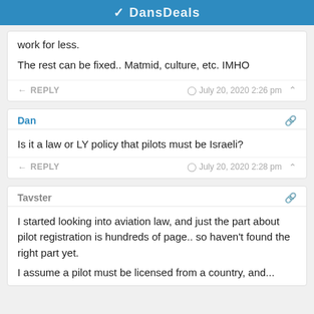DansDeals
work for less.
The rest can be fixed.. Matmid, culture, etc. IMHO
REPLY   July 20, 2020 2:26 pm
Dan
Is it a law or LY policy that pilots must be Israeli?
REPLY   July 20, 2020 2:28 pm
Tavster
I started looking into aviation law, and just the part about pilot registration is hundreds of page.. so haven't found the right part yet.
I assume a pilot must be licensed from a country, and...